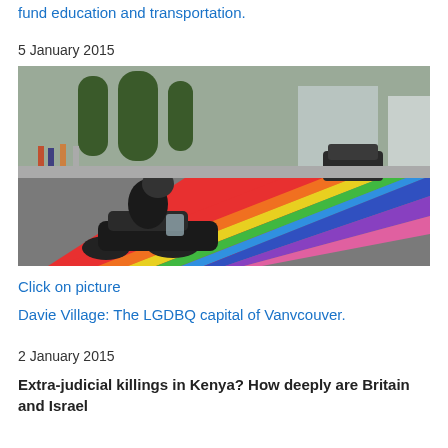fund education and transportation.
5 January 2015
[Figure (photo): A motorcyclist riding across a rainbow-painted crosswalk (pride crosswalk) in Davie Village, Vancouver. People are visible on the sidewalk and a car is in the background. Trees and commercial buildings line the street.]
Click on picture
Davie Village: The LGDBQ capital of Vanvcouver.
2 January 2015
Extra-judicial killings in Kenya? How deeply are Britain and Israel